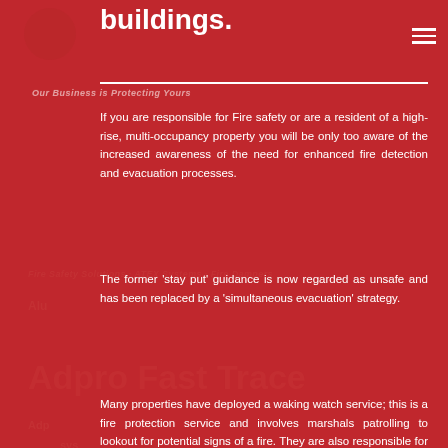buildings.
Our Business is Protecting Yours
If you are responsible for Fire safety or are a resident of a high-rise, multi-occupancy property you will be only too aware of the increased awareness of the need for enhanced fire detection and evacuation processes.
The former ‘stay put’ guidance is now regarded as unsafe and has been replaced by a ‘simultaneous evacuation’ strategy.
Many properties have deployed a waking watch service; this is a fire protection service and involves marshals patrolling to lookout for potential signs of a fire. They are also responsible for raising the alarm.
These services are costing property owners and residents thousands of pounds. A Waking Watch service can be replaced by a wireless Fire Detection